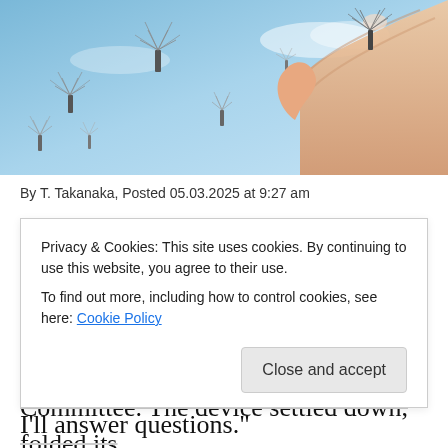[Figure (illustration): Illustration of a hand holding small drone-like dandelion seed devices floating against a blue sky background]
By T. Takanaka, Posted 05.03.2025 at 9:27 am
WASHINGTON, DC. — The double doors to the Senate were opened today as an Untethered Remote Vehicle entered under its own power to testify before the Senate Judiciary Committee. The device settled down, folded its
Privacy & Cookies: This site uses cookies. By continuing to use this website, you agree to their use.
To find out more, including how to control cookies, see here: Cookie Policy
I'll answer questions."